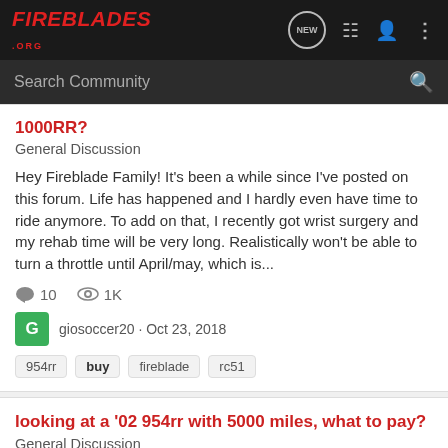FireBlades .org — navigation bar with logo, NEW, list, user, and dots icons
Search Community
1000RR?
General Discussion
Hey Fireblade Family! It's been a while since I've posted on this forum. Life has happened and I hardly even have time to ride anymore. To add on that, I recently got wrist surgery and my rehab time will be very long. Realistically won't be able to turn a throttle until April/may, which is...
10 replies, 1K views
giosoccer20 · Oct 23, 2018
954rr
buy
fireblade
rc51
looking at a '02 954rr with 5000 miles, what to pay?
General Discussion